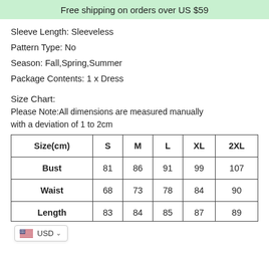Free shipping on orders over US $59
Sleeve Length: Sleeveless
Pattern Type: No
Season: Fall,Spring,Summer
Package Contents: 1 x Dress
Size Chart:
Please Note:All dimensions are measured manually with a deviation of 1 to 2cm
| Size(cm) | S | M | L | XL | 2XL |
| --- | --- | --- | --- | --- | --- |
| Bust | 81 | 86 | 91 | 99 | 107 |
| Waist | 68 | 73 | 78 | 84 | 90 |
| Length | 83 | 84 | 85 | 87 | 89 |